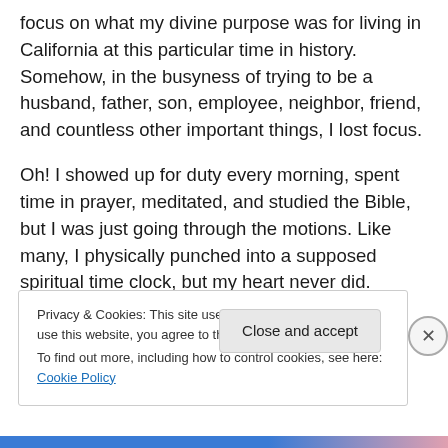focus on what my divine purpose was for living in California at this particular time in history. Somehow, in the busyness of trying to be a husband, father, son, employee, neighbor, friend, and countless other important things, I lost focus.
Oh! I showed up for duty every morning, spent time in prayer, meditated, and studied the Bible, but I was just going through the motions. Like many, I physically punched into a supposed spiritual time clock, but my heart never did.
Privacy & Cookies: This site uses cookies. By continuing to use this website, you agree to their use.
To find out more, including how to control cookies, see here: Cookie Policy